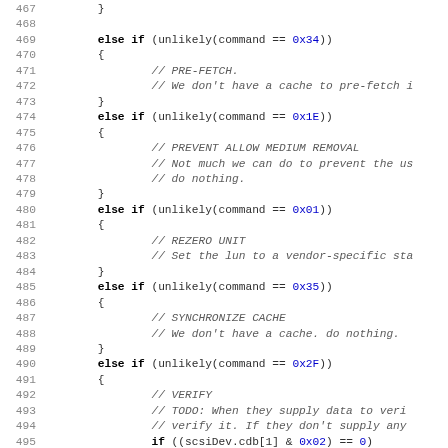[Figure (screenshot): Source code snippet (C/C++) showing a series of else-if branches handling SCSI commands: 0x34 (PRE-FETCH), 0x1E (PREVENT ALLOW MEDIUM REMOVAL), 0x01 (REZERO UNIT), 0x35 (SYNCHRONIZE CACHE), 0x2F (VERIFY), with line numbers 468-499.]